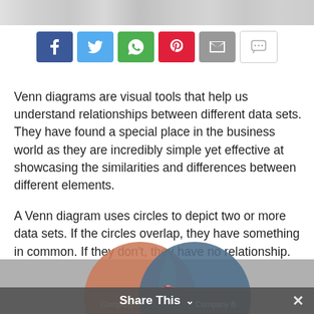[Figure (screenshot): Top strip showing thumbnail previews of document pages]
[Figure (infographic): Social sharing buttons: Facebook (blue), Twitter (light blue), WhatsApp (green), Pinterest (red), Email (grey), Chat (white/grey outline)]
Venn diagrams are visual tools that help us understand relationships between different data sets. They have found a special place in the business world as they are incredibly simple yet effective at showcasing the similarities and differences between different elements.
A Venn diagram uses circles to depict two or more data sets. If the circles overlap, they have something in common. If they don't, they have no relationship.
[Figure (illustration): Partially visible Venn diagram at bottom of page showing two overlapping circles labeled 'Company A' and 'Company B' in brownish-orange and steel-blue colors with overlap region]
Share This